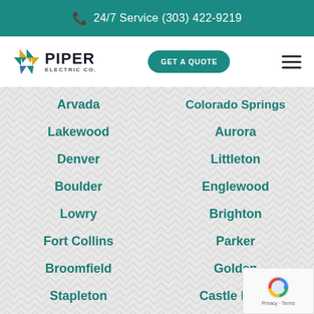24/7 Service (303) 422-9219
[Figure (logo): Piper Electric Co. logo with geometric X pattern icon and company name]
GET A QUOTE
Arvada
Colorado Springs
Lakewood
Aurora
Denver
Littleton
Boulder
Englewood
Lowry
Brighton
Fort Collins
Parker
Broomfield
Golden
Stapleton
Castle Rock